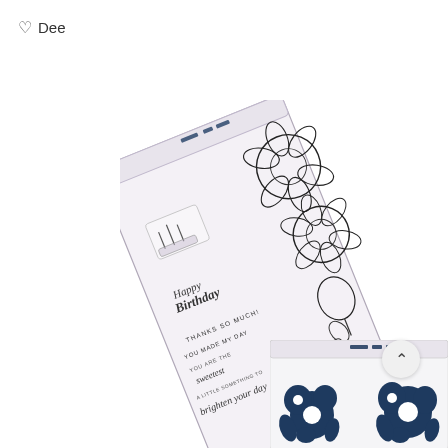♡  Dee
[Figure (photo): A clear acrylic stamp set shown at an angle on a white background. The stamp set contains floral outline stamps of large blooms running along the right edge, plus several sentiment text stamps reading 'Happy Birthday', 'THANKS SO MUCH!', 'YOU MADE MY DAY', 'YOU ARE THE sweetest', 'A LITTLE SOMETHING TO brighten your day', and other small flourish stamps. A small 'welcome' text appears on the side.]
[Figure (photo): Partial view of the bottom portion of what appears to be a second product showing a white cardstock/stamp set with navy blue floral silhouette stamps visible at the bottom of the page.]